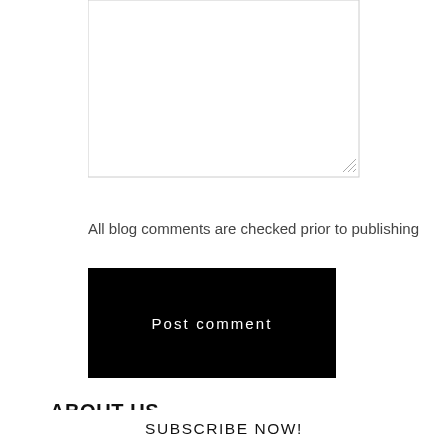[Figure (other): Text input textarea box with resize handle in bottom-right corner]
All blog comments are checked prior to publishing
Post comment
ABOUT US
Rainbow Roo is an Australian based startup established in 2017. We champion, celebrate and advocate for the whole LGBTIQA+ community. Our core belief is that Love is Love regardless of one's gender identity or sexuality. We want to create a World where we are
SUBSCRIBE NOW!